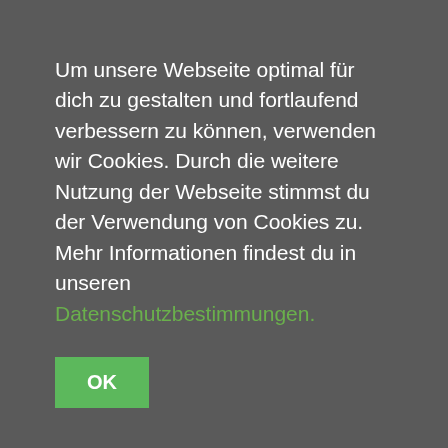Um unsere Webseite optimal für dich zu gestalten und fortlaufend verbessern zu können, verwenden wir Cookies. Durch die weitere Nutzung der Webseite stimmst du der Verwendung von Cookies zu. Mehr Informationen findest du in unseren Datenschutzbestimmungen.
OK
VW T1 (1)
Werkstatt Banner (10)
Womanswear (16)